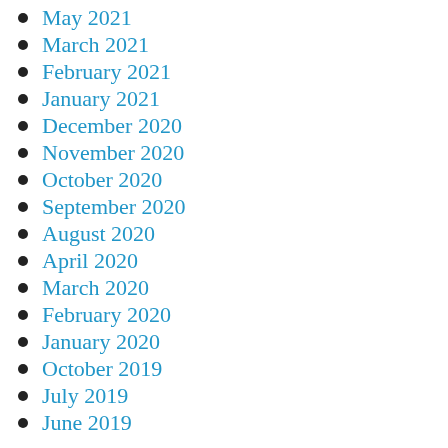May 2021
March 2021
February 2021
January 2021
December 2020
November 2020
October 2020
September 2020
August 2020
April 2020
March 2020
February 2020
January 2020
October 2019
July 2019
June 2019